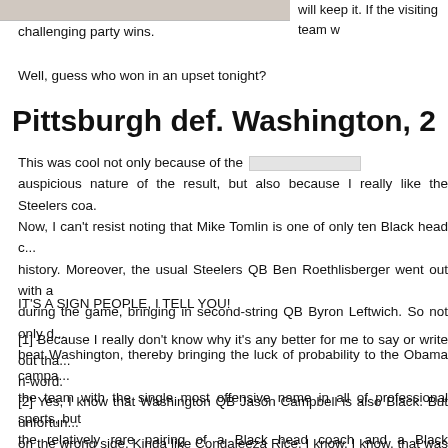[Figure (photo): Image strip at top of page showing people, partially cropped]
will keep it. If the visiting team challenging party wins.
Well, guess who won in an upset tonight?
Pittsburgh def. Washington, 2
This was cool not only because of the auspicious nature of the result, but also because I really like the Steelers coa. Now, I can't resist noting that Mike Tomlin is one of only ten Black head c... history. Moreover, the usual Steelers QB Ben Roethlisberger went out with a during the game, bringing in second-string QB Byron Leftwich. So not only d... beat Washington, thereby bringing the luck of probability to the Obama campa... the team with the single most offensive name in all of professional sports, but the relatively rare pairing of a Black head coach and a Black quarterback [2].
IT'S A SIGN PEOPLE, I TELL YOU!
[1] Because I really don't know why it's any better for me to say or write out tha... n-word.
[2] Yes, I know that Washington QB Jason Campbell is also Black. But unfortun... on the wrong side. Kinda like Condaleeza Rice. I know, I know, that was wrong...